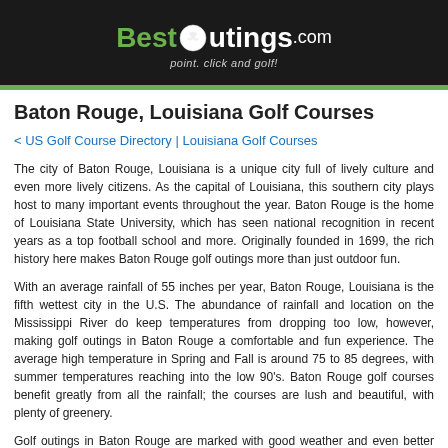[Figure (logo): BestOutings.com logo with golf ball replacing the 'O', tagline 'point. click and golf!' on dark background with green accent bar]
Baton Rouge, Louisiana Golf Courses
< US Golf Course Directory | Louisiana Golf Courses
The city of Baton Rouge, Louisiana is a unique city full of lively culture and even more lively citizens. As the capital of Louisiana, this southern city plays host to many important events throughout the year. Baton Rouge is the home of Louisiana State University, which has seen national recognition in recent years as a top football school and more. Originally founded in 1699, the rich history here makes Baton Rouge golf outings more than just outdoor fun.
With an average rainfall of 55 inches per year, Baton Rouge, Louisiana is the fifth wettest city in the U.S. The abundance of rainfall and location on the Mississippi River do keep temperatures from dropping too low, however, making golf outings in Baton Rouge a comfortable and fun experience. The average high temperature in Spring and Fall is around 75 to 85 degrees, with summer temperatures reaching into the low 90's. Baton Rouge golf courses benefit greatly from all the rainfall; the courses are lush and beautiful, with plenty of greenery.
Golf outings in Baton Rouge are marked with good weather and even better landscaping. The fantastic design of golf courses in Baton Rouge draws players to this city yearly. The smooth greens and spotless fairways keep them coming back for more! Visit this gem in the South to learn why Baton Rouge is the place to be for golf on the